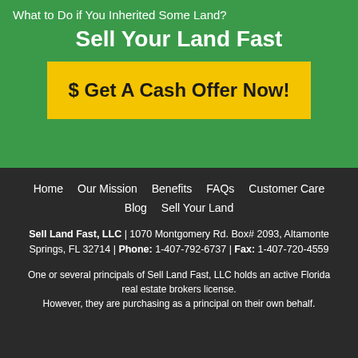What to Do if You Inherited Some Land?
Sell Your Land Fast
[Figure (other): Yellow CTA button reading '$ Get A Cash Offer Now!']
Home   Our Mission   Benefits   FAQs   Customer Care   Blog   Sell Your Land
Sell Land Fast, LLC | 1070 Montgomery Rd. Box# 2093, Altamonte Springs, FL 32714 | Phone: 1-407-792-6737 | Fax: 1-407-720-4559
One or several principals of Sell Land Fast, LLC holds an active Florida real estate brokers license. However, they are purchasing as a principal on their own behalf.